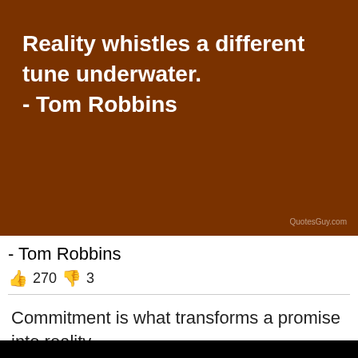[Figure (illustration): Brown background quote image with white bold text reading 'Reality whistles a different tune underwater. - Tom Robbins' and a QuotesGuy.com watermark]
- Tom Robbins
👍 270 👎 3
Commitment is what transforms a promise into reality.